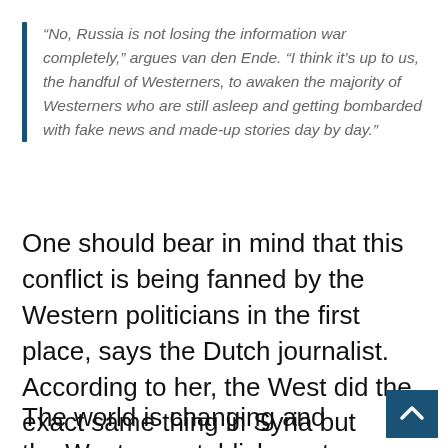“No, Russia is not losing the information war completely,” argues van den Ende. “I think it’s up to us, the handful of Westerners, to awaken the majority of Westerners who are still asleep and getting bombarded with fake news and made-up stories day by day.”
One should bear in mind that this conflict is being fanned by the Western politicians in the first place, says the Dutch journalist. According to her, the West did the exact same thing in Syria but ultimately lost that war.
The world is changing and the Western establishment has yet to reconcile itself to